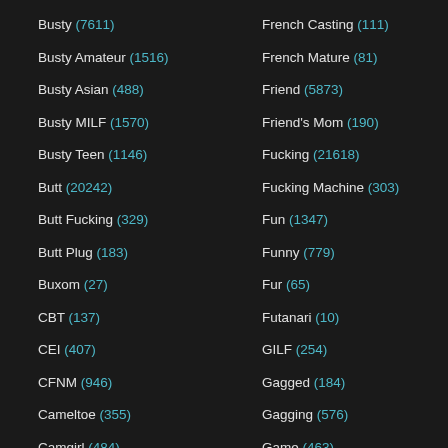Busty (7611)
Busty Amateur (1516)
Busty Asian (488)
Busty MILF (1570)
Busty Teen (1146)
Butt (20242)
Butt Fucking (329)
Butt Plug (183)
Buxom (27)
CBT (137)
CEI (407)
CFNM (946)
Cameltoe (355)
Camgirl (484)
Canadian (69)
Car (992)
French Casting (111)
French Mature (81)
Friend (5873)
Friend's Mom (190)
Fucking (21618)
Fucking Machine (303)
Fun (1347)
Funny (779)
Fur (65)
Futanari (10)
GILF (254)
Gagged (184)
Gagging (576)
Game (463)
Gangbang (2660)
Gaping (1914)